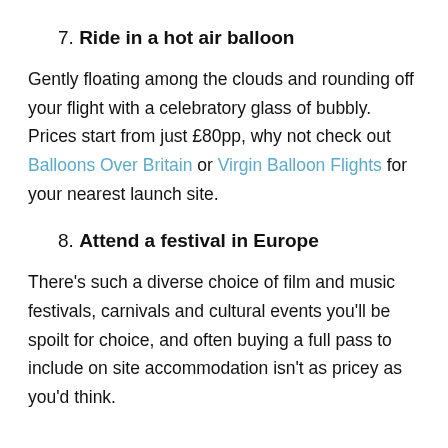7. Ride in a hot air balloon
Gently floating among the clouds and rounding off your flight with a celebratory glass of bubbly. Prices start from just £80pp, why not check out Balloons Over Britain or Virgin Balloon Flights for your nearest launch site.
8. Attend a festival in Europe
There's such a diverse choice of film and music festivals, carnivals and cultural events you'll be spoilt for choice, and often buying a full pass to include on site accommodation isn't as pricey as you'd think.